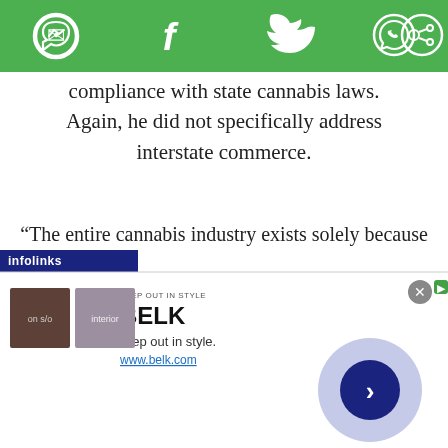[Figure (screenshot): Green social sharing toolbar with icons for Messenger, Facebook, Twitter, WhatsApp, and another app]
compliance with state cannabis laws. Again, he did not specifically address interstate commerce.
“The entire cannabis industry exists solely because the Department of Justice has decided not to, or in the case of medical is forbidden to, interfere where states are regulating,” Adam Smith, founder of the Alliance for Sensible Markets, told Marijuana Moment.
[Figure (screenshot): Infolinks advertisement banner for BELK - Step out in style. www.belk.com, with two thumbnail images and a circular navigation button]